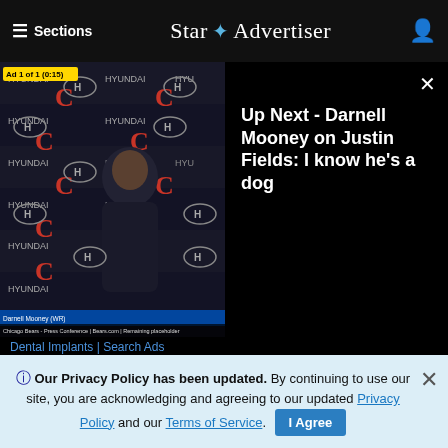≡ Sections  Star ✦ Advertiser
[Figure (screenshot): Video player showing Chicago Bears press conference with Darnell Mooney. Left panel: video screenshot with Hyundai/Bears branding backdrop and player in hoodie. Ad badge: Ad 1 of 1 (0:15). Right panel black background with text 'Up Next - Darnell Mooney on Justin Fields: I know he's a dog'. Close X button top right.]
Dental Implants | Search Ads
[Figure (other): Advertisement placeholder box with 'Advertisement' label in center]
ⓘ Our Privacy Policy has been updated. By continuing to use our site, you are acknowledging and agreeing to our updated Privacy Policy and our Terms of Service. I Agree